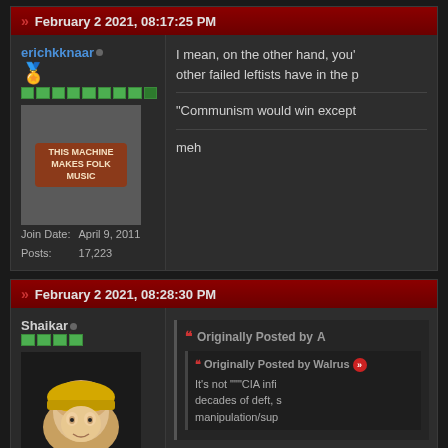February 2 2021, 08:17:25 PM
erichkknaar
Join Date: April 9, 2011
Posts: 17,223
I mean, on the other hand, you' other failed leftists have in the p
"Communism would win except
meh
February 2 2021, 08:28:30 PM
Shaikar
Originally Posted by A
Originally Posted by Walrus
It's not """CIA infi decades of deft, s manipulation/sup